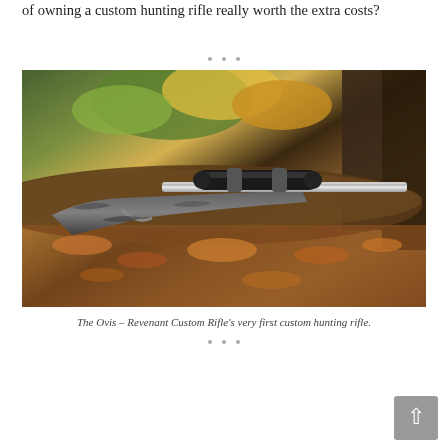of owning a custom hunting rifle really worth the extra costs?
[Figure (photo): A custom hunting rifle with a scope lying on autumn leaves and logs in a forest setting. The rifle has a gray/camouflage stock and stainless barrel.]
The Ovis – Revenant Custom Rifle's very first custom hunting rifle.